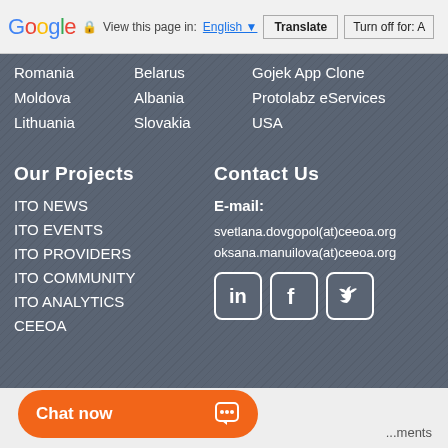Google  View this page in: English  Translate  Turn off for: A
Romania   Belarus   Gojek App Clone
Moldova   Albania   Protolabz eServices
Lithuania   Slovakia   USA
Our Projects
Contact Us
ITO NEWS
E-mail:
ITO EVENTS
svetlana.dovgopol(at)ceeoa.org
ITO PROVIDERS
oksana.manuilova(at)ceeoa.org
ITO COMMUNITY
ITO ANALYTICS
CEEOA
[Figure (infographic): Social media icons: LinkedIn, Facebook, Twitter]
Chat now
...ments